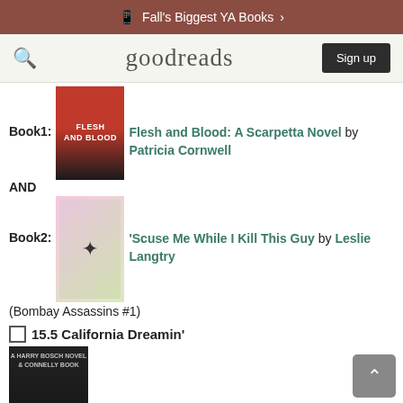Fall's Biggest YA Books
[Figure (screenshot): Goodreads logo with search icon and Sign up button]
Book1: Flesh and Blood: A Scarpetta Novel by Patricia Cornwell AND
Book2: 'Scuse Me While I Kill This Guy by Leslie Langtry (Bombay Assassins #1)
15.5 California Dreamin'
City Of Bones by Michael Connelly (Harry Bosch lives and works in the LA area)